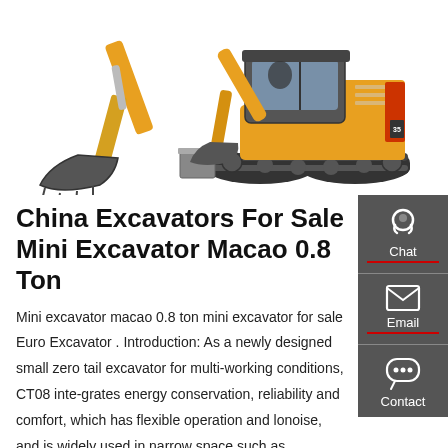[Figure (photo): Yellow mini excavator (CAT/similar brand) with bucket arm on left and full machine view with blade on right, on white background]
China Excavators For Sale Mini Excavator Macao 0.8 Ton
Mini excavator macao 0.8 ton mini excavator for sale Euro Excavator . Introduction: As a newly designed small zero tail excavator for multi-working conditions, CT08 inte-grates energy conservation, reliability and comfort, which has flexible operation and lonoise, and is widely used in narrow space such as construction sites, gardens, municipal andurban construction.